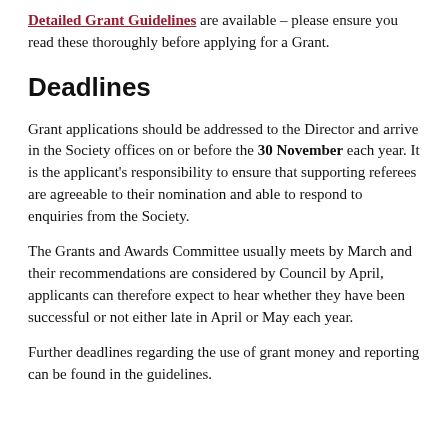Detailed Grant Guidelines are available – please ensure you read these thoroughly before applying for a Grant.
Deadlines
Grant applications should be addressed to the Director and arrive in the Society offices on or before the 30 November each year.  It is the applicant's responsibility to ensure that supporting referees are agreeable to their nomination and able to respond to enquiries from the Society.
The Grants and Awards Committee usually meets by March and their recommendations are considered by Council by April, applicants can therefore expect to hear whether they have been successful or not either late in April or May each year.
Further deadlines regarding the use of grant money and reporting can be found in the guidelines.